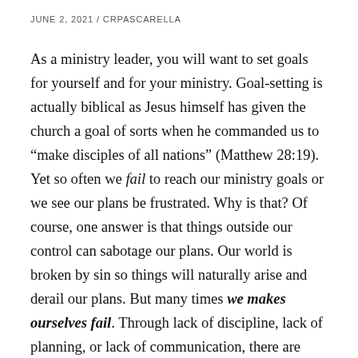JUNE 2, 2021 / CRPASCARELLA
As a ministry leader, you will want to set goals for yourself and for your ministry. Goal-setting is actually biblical as Jesus himself has given the church a goal of sorts when he commanded us to “make disciples of all nations” (Matthew 28:19). Yet so often we fail to reach our ministry goals or we see our plans be frustrated. Why is that? Of course, one answer is that things outside our control can sabotage our plans. Our world is broken by sin so things will naturally arise and derail our plans. But many times we makes ourselves fail. Through lack of discipline, lack of planning, or lack of communication, there are many ways that we can derail our own plans and goals.